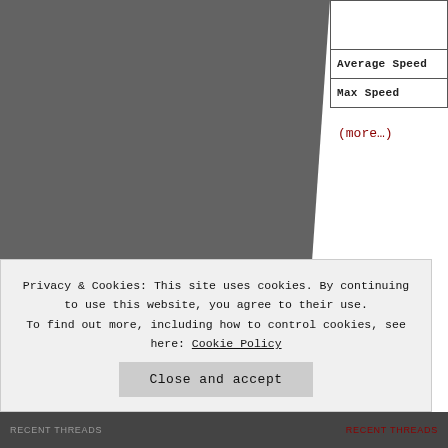[Figure (photo): Large grey/dark photograph occupying the left portion of the page, with a torn or irregular right edge transitioning to white background]
|  |
| --- |
|  |
| Average Speed |
| Max Speed |
(more…)
➡ Day T
Privacy & Cookies: This site uses cookies. By continuing to use this website, you agree to their use. To find out more, including how to control cookies, see here: Cookie Policy
Close and accept
RECENT THREADS